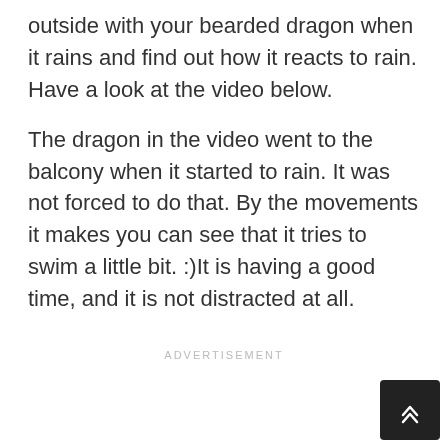outside with your bearded dragon when it rains and find out how it reacts to rain. Have a look at the video below.
The dragon in the video went to the balcony when it started to rain. It was not forced to do that. By the movements it makes you can see that it tries to swim a little bit. :)It is having a good time, and it is not distracted at all.
ADVERTISEMENT